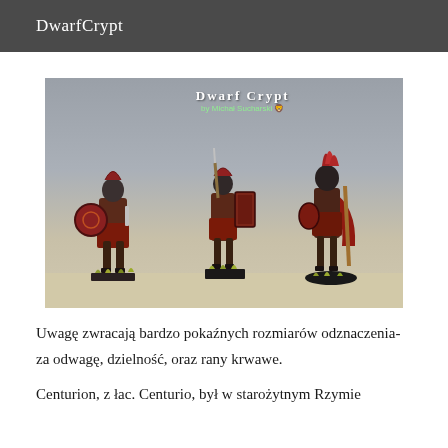DwarfCrypt
[Figure (photo): Three painted Roman centurion miniature figures on bases with grass tufts, photographed against a grey and beige background. Dwarf Crypt by Michał Sucharski watermark logo visible at top center.]
Uwagę zwracają bardzo pokaźnych rozmiarów odznaczenia- za odwagę, dzielność, oraz rany krwawe.
Centurion, z łac. Centurio, był w starożytnym Rzymie